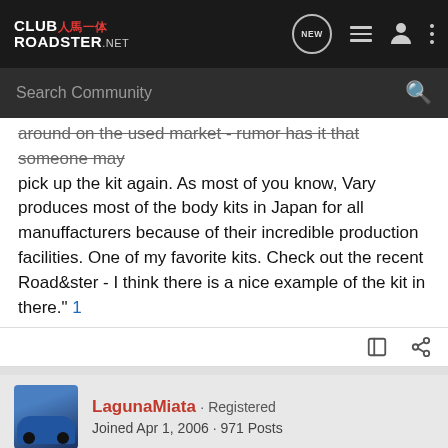CLUB人馬一体 ROADSTER.net
around on the used market - rumor has it that someone may pick up the kit again. As most of you know, Vary produces most of the body kits in Japan for all manuffacturers because of their incredible production facilities. One of my favorite kits. Check out the recent Road&ster - I think there is a nice example of the kit in there." 1
LagunaMiata · Registered
Joined Apr 1, 2006 · 971 Posts
#3 · Apr 17, 2006
I think there was a Road&Ster feature of two Actives, one with a